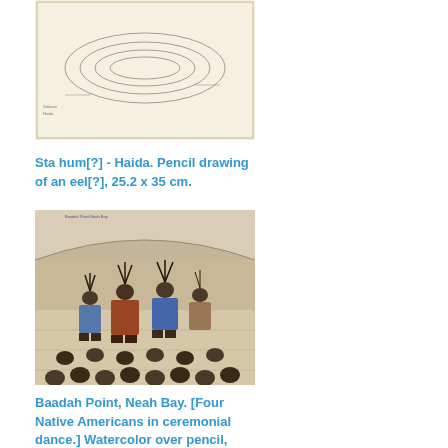[Figure (illustration): Pencil sketch/drawing showing an eel-like shape with oval contour lines on aged paper background]
Sta hum[?] - Haida. Pencil drawing of an eel[?], 25.2 x 35 cm.
[Figure (illustration): Watercolor over pencil painting showing four Native Americans in ceremonial dance in a longhouse setting, with audience seated around]
Baadah Point, Neah Bay. [Four Native Americans in ceremonial dance.] Watercolor over pencil, 18.5 x...